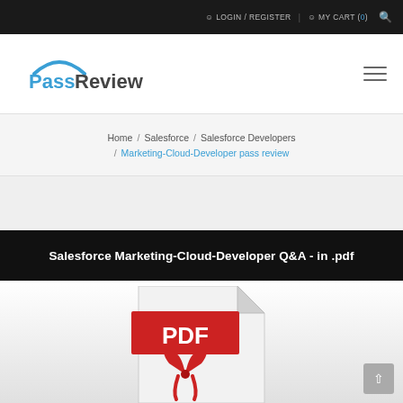LOGIN / REGISTER | MY CART (0)
[Figure (logo): PassReview logo with blue arc above text, 'Pass' in blue and 'Review' in dark gray]
Home / Salesforce / Salesforce Developers / Marketing-Cloud-Developer pass review
Salesforce Marketing-Cloud-Developer Q&A - in .pdf
[Figure (illustration): Red PDF file icon with Acrobat reader symbol on a white document background]